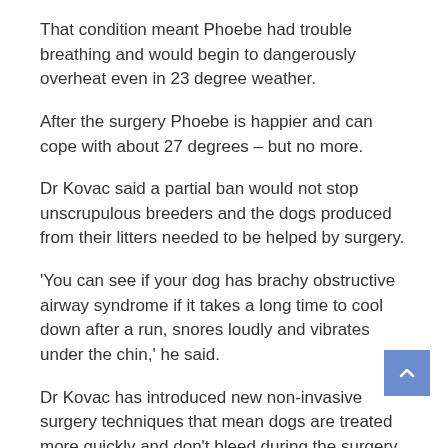That condition meant Phoebe had trouble breathing and would begin to dangerously overheat even in 23 degree weather.
After the surgery Phoebe is happier and can cope with about 27 degrees – but no more.
Dr Kovac said a partial ban would not stop unscrupulous breeders and the dogs produced from their litters needed to be helped by surgery.
'You can see if your dog has brachy obstructive airway syndrome if it takes a long time to cool down after a run, snores loudly and vibrates under the chin,' he said.
Dr Kovac has introduced new non-invasive surgery techniques that mean dogs are treated more quickly and don't bleed during the surgery.